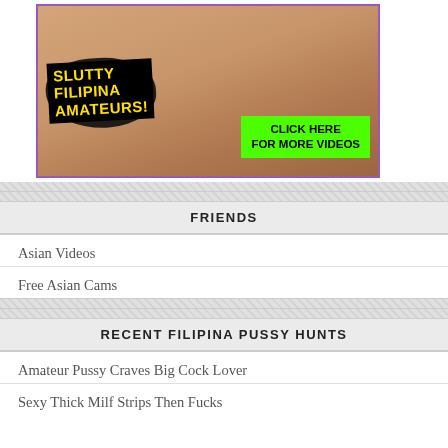[Figure (photo): Adult advertisement banner with text overlays: 'SLUTTY FILIPINA AMATEURS!' in yellow on black, and 'CLICK HERE FOR MORE VIDEOS' in black on green button.]
FRIENDS
Asian Videos
Free Asian Cams
RECENT FILIPINA PUSSY HUNTS
Amateur Pussy Craves Big Cock Lover
Sexy Thick Milf Strips Then Fucks